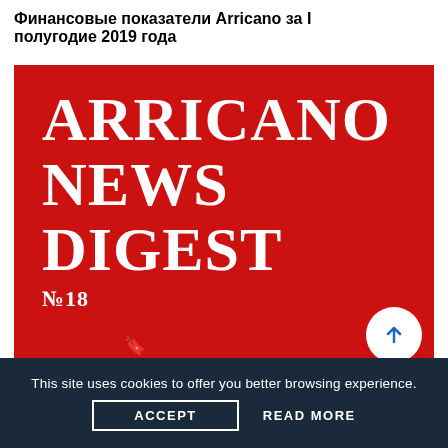Финансовые показатели Arricano за I полугодие 2019 года
[Figure (illustration): Red background image with white bold serif text reading 'ARRICANO NEWS DIGEST №18', with a small zipper icon at the bottom left area]
23/ 08/ 2019
Arricano News Digest №18
This site uses cookies to offer you better browsing experience.
ACCEPT
READ MORE